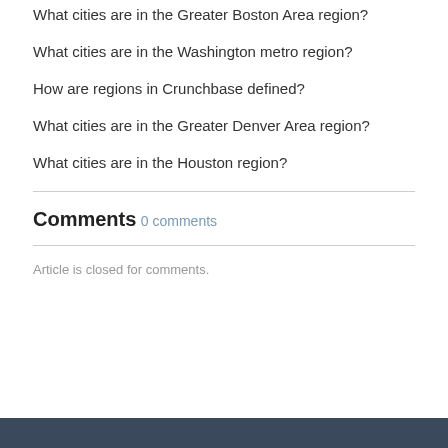What cities are in the Greater Boston Area region?
What cities are in the Washington metro region?
How are regions in Crunchbase defined?
What cities are in the Greater Denver Area region?
What cities are in the Houston region?
Comments
0 comments
Article is closed for comments.